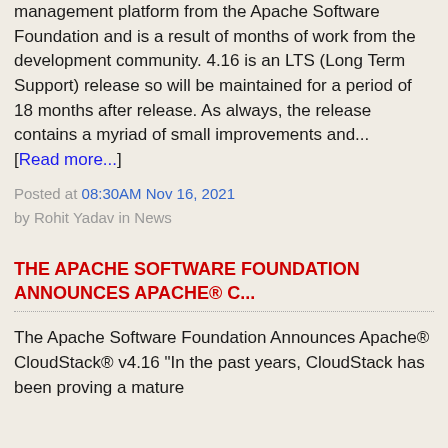management platform from the Apache Software Foundation and is a result of months of work from the development community. 4.16 is an LTS (Long Term Support) release so will be maintained for a period of 18 months after release. As always, the release contains a myriad of small improvements and... [Read more...]
Posted at 08:30AM Nov 16, 2021 by Rohit Yadav in News
THE APACHE SOFTWARE FOUNDATION ANNOUNCES APACHE® C...
The Apache Software Foundation Announces Apache® CloudStack® v4.16 "In the past years, CloudStack has been proving a mature cloud management platform. The